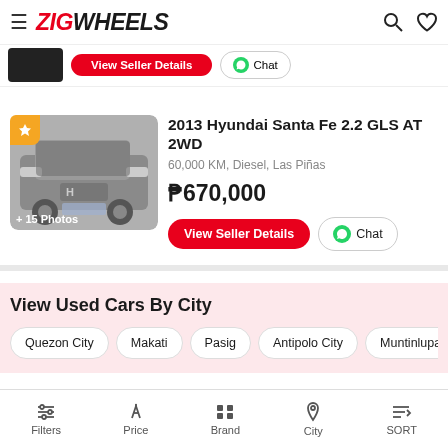ZIGWHEELS
[Figure (screenshot): Partial car listing strip at top with dark car thumbnail, red View Seller Details button, and Chat button with WhatsApp icon]
[Figure (photo): 2013 Hyundai Santa Fe front view, silver/grey, with gold featured star badge and '+ 15 Photos' overlay]
2013 Hyundai Santa Fe 2.2 GLS AT 2WD
60,000 KM, Diesel, Las Piñas
₱670,000
View Used Cars By City
Quezon City
Makati
Pasig
Antipolo City
Muntinlupa
Want to see your car here?
Filters  Price  Brand  City  SORT